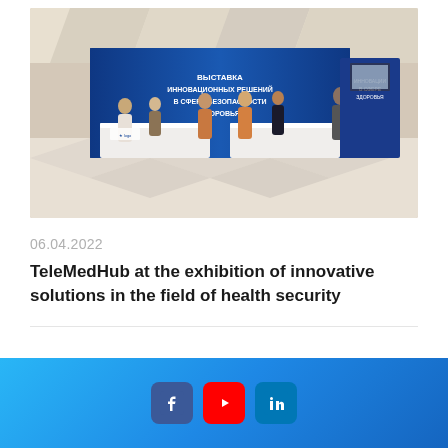[Figure (photo): Photo of an exhibition booth with Russian text 'ВЫСТАВКА ИННОВАЦИОННЫХ РЕШЕНИЙ В СФЕРЕ БЕЗОПАСНОСТИ ЗДОРОВЬЯ' (Exhibition of Innovative Solutions in the Field of Health Security). Several people are standing around white reception desks in a modern venue with geometric ceiling design.]
06.04.2022
TeleMedHub at the exhibition of innovative solutions in the field of health security
[Figure (infographic): Blue gradient footer bar with Facebook, YouTube, and LinkedIn social media icons]